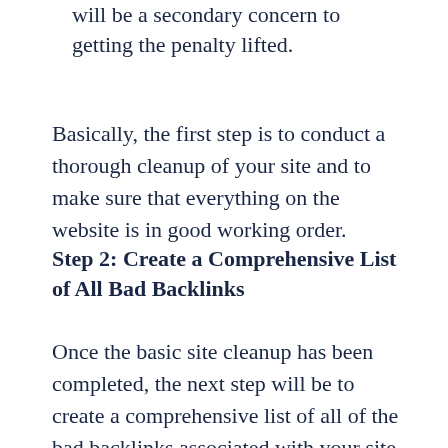will be a secondary concern to getting the penalty lifted.
Basically, the first step is to conduct a thorough cleanup of your site and to make sure that everything on the website is in good working order.
Step 2: Create a Comprehensive List of All Bad Backlinks
Once the basic site cleanup has been completed, the next step will be to create a comprehensive list of all of the bad backlinks associated with your site. The reason that this is so important is that it is usually the reason that manual penalties are imposed in the first place (in fact, "artificial or